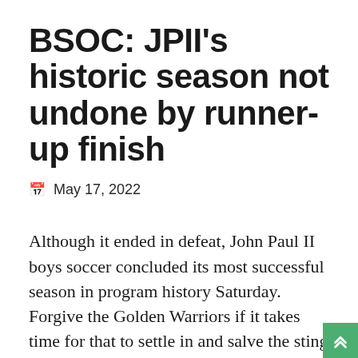BSOC: JPII's historic season not undone by runner-up finish
📅 May 17, 2022
Although it ended in defeat, John Paul II boys soccer concluded its most successful season in program history Saturday. Forgive the Golden Warriors if it takes time for that to settle in and salve the sting